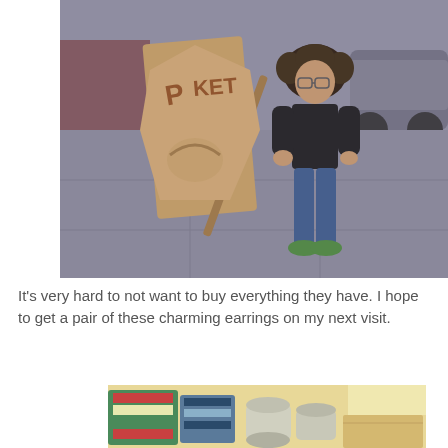[Figure (photo): A young child with curly hair wearing a black t-shirt, blue jeans, and green sneakers, standing next to a wooden A-frame sign on a sidewalk. A car is visible in the background.]
It’s very hard to not want to buy everything they have. I hope to get a pair of these charming earrings on my next visit.
[Figure (photo): Close-up of colorful merchandise items including patterned fabric/accessories and cylindrical items on a light-colored surface, partially visible.]